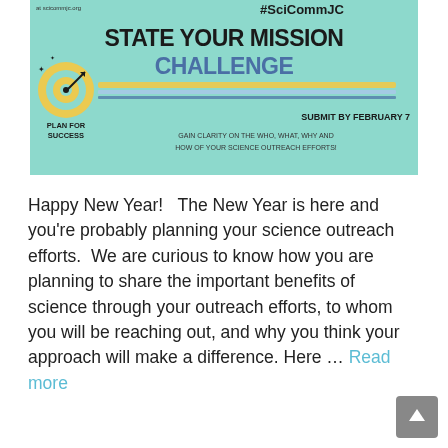[Figure (infographic): A teal/mint colored banner for the #SciCommJC 'State Your Mission Challenge'. Includes a target/bullseye icon with 'Plan For Success' text, decorative colored stripes, the challenge title in bold black and blue, 'Submit By February 7' deadline, and tagline about gaining clarity on science outreach efforts.]
Happy New Year!   The New Year is here and you're probably planning your science outreach efforts.  We are curious to know how you are planning to share the important benefits of science through your outreach efforts, to whom you will be reaching out, and why you think your approach will make a difference. Here … Read more